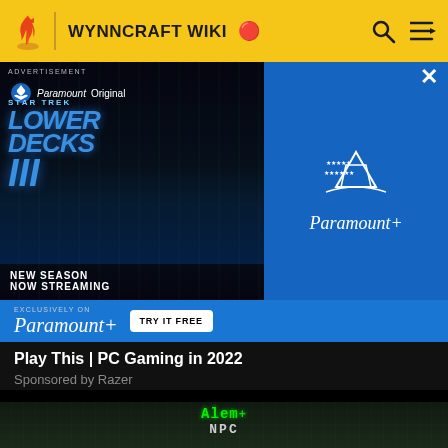WYNNCRAFT WIKI
[Figure (screenshot): Star Trek Lower Decks Season 3 advertisement on Paramount+ with characters and logo. Text: ADVERTISEMENT, Paramount+ Original, NEW SEASON NOW STREAMING, EXCLUSIVELY ON Paramount+ TRY IT FREE]
Play This | PC Gaming in 2022
Sponsored by Razer
[Figure (screenshot): Wynncraft Minecraft game screenshot showing NPC named Alem with green text, stone castle architecture and glowing runes]